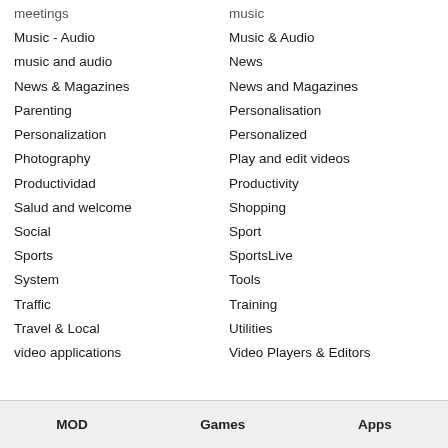meetings | music
Music - Audio | Music & Audio
music and audio | News
News & Magazines | News and Magazines
Parenting | Personalisation
Personalization | Personalized
Photography | Play and edit videos
Productividad | Productivity
Salud and welcome | Shopping
Social | Sport
Sports | SportsLive
System | Tools
Traffic | Training
Travel & Local | Utilities
video applications | Video Players & Editors
MOD    Games    Apps